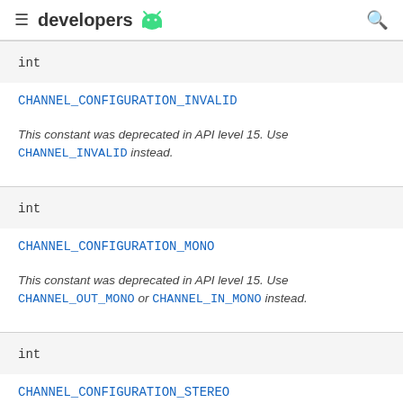developers
int
CHANNEL_CONFIGURATION_INVALID
This constant was deprecated in API level 15. Use CHANNEL_INVALID instead.
int
CHANNEL_CONFIGURATION_MONO
This constant was deprecated in API level 15. Use CHANNEL_OUT_MONO or CHANNEL_IN_MONO instead.
int
CHANNEL_CONFIGURATION_STEREO